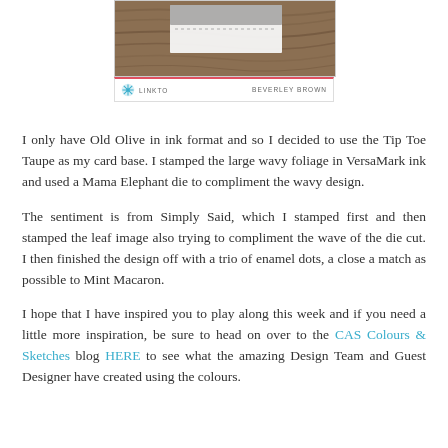[Figure (photo): A cropped card with wood grain background and white card element with red line separator, showing LINKTO and BEVERLEY BROWN text with a teal snowflake/flower logo at the bottom.]
I only have Old Olive in ink format and so I decided to use the Tip Toe Taupe as my card base. I stamped the large wavy foliage in VersaMark ink and used a Mama Elephant die to compliment the wavy design.
The sentiment is from Simply Said, which I stamped first and then stamped the leaf image also trying to compliment the wave of the die cut. I then finished the design off with a trio of enamel dots, a close a match as possible to Mint Macaron.
I hope that I have inspired you to play along this week and if you need a little more inspiration, be sure to head on over to the CAS Colours & Sketches blog HERE to see what the amazing Design Team and Guest Designer have created using the colours.